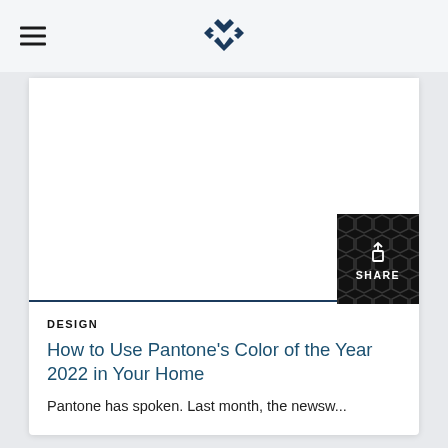[Figure (illustration): White blank card image area above a dark blue horizontal divider line]
DESIGN
How to Use Pantone's Color of the Year 2022 in Your Home
Pantone has spoken. Last month, the newsw...